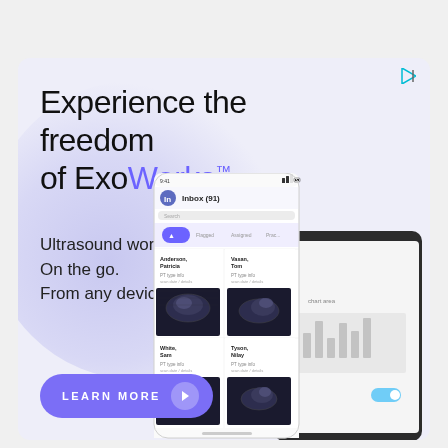[Figure (illustration): Advertisement banner for ExoWorks ultrasound workflow app showing title text, subtitle, learn more button, and smartphone/tablet app screenshots with ultrasound images on a light purple/lavender background.]
Experience the freedom of ExoWorks™
Ultrasound workflow.
On the go.
From any device.
LEARN MORE